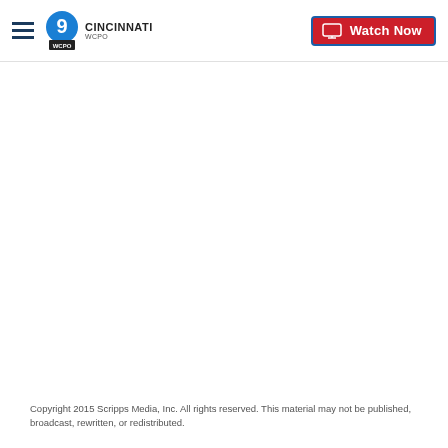WCPO 9 CINCINNATI | Watch Now
Copyright 2015 Scripps Media, Inc. All rights reserved. This material may not be published, broadcast, rewritten, or redistributed.